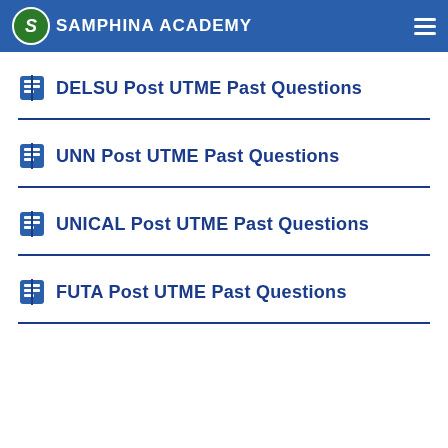Samphina Academy
DELSU Post UTME Past Questions
UNN Post UTME Past Questions
UNICAL Post UTME Past Questions
FUTA Post UTME Past Questions